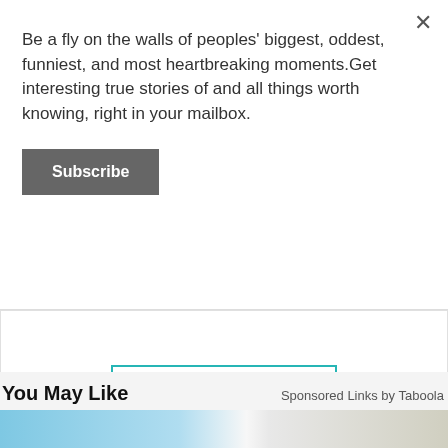Be a fly on the walls of peoples' biggest, oddest, funniest, and most heartbreaking moments.Get interesting true stories of and all things worth knowing, right in your mailbox.
Subscribe
Keep reading...
Mandela Effect
You May Like
Sponsored Links by Taboola
[Figure (screenshot): Bottom image strip showing partial blue and grey imagery]